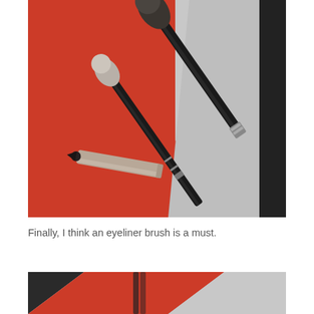[Figure (photo): Three makeup brushes and an eyeliner pencil arranged on a red and black/white surface. Two larger blending brushes with silver/black handles and soft bristle tips, one smaller brush, and a metallic eyeliner pencil with a dark pointed tip.]
Finally, I think an eyeliner brush is a must.
[Figure (photo): Partial view of makeup brushes on a red, black and white background — bottom cropped portion.]